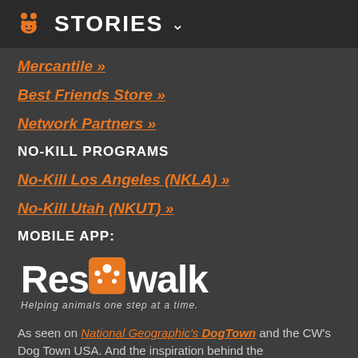STORIES
Mercantile »
Best Friends Store »
Network Partners »
NO-KILL PROGRAMS
No-Kill Los Angeles (NKLA) »
No-Kill Utah (NKUT) »
MOBILE APP:
[Figure (logo): ResQwalk logo with paw print and tagline 'Helping animals one step at a time.']
As seen on National Geographic's DogTown and the CW's Dog Town USA. And the inspiration behind the